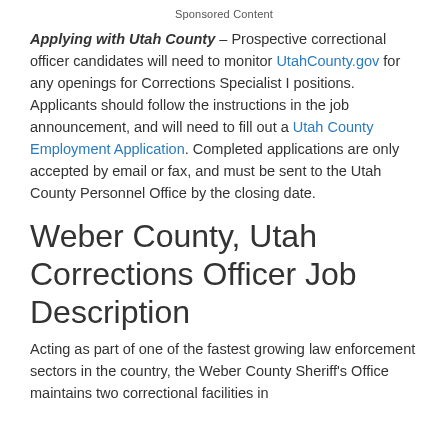Sponsored Content
Applying with Utah County – Prospective correctional officer candidates will need to monitor UtahCounty.gov for any openings for Corrections Specialist I positions. Applicants should follow the instructions in the job announcement, and will need to fill out a Utah County Employment Application. Completed applications are only accepted by email or fax, and must be sent to the Utah County Personnel Office by the closing date.
Weber County, Utah Corrections Officer Job Description
Acting as part of one of the fastest growing law enforcement sectors in the country, the Weber County Sheriff's Office maintains two correctional facilities in